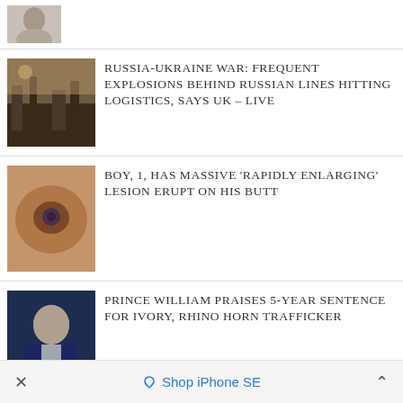[Figure (photo): Partial top image, person's head/shoulders visible]
[Figure (photo): War destruction scene - Russia Ukraine war]
RUSSIA-UKRAINE WAR: FREQUENT EXPLOSIONS BEHIND RUSSIAN LINES HITTING LOGISTICS, SAYS UK – LIVE
[Figure (photo): Medical image - lesion on skin]
BOY, 1, HAS MASSIVE 'RAPIDLY ENLARGING' LESION ERUPT ON HIS BUTT
[Figure (photo): Prince William speaking at event]
PRINCE WILLIAM PRAISES 5-YEAR SENTENCE FOR IVORY, RHINO HORN TRAFFICKER
[Figure (photo): China fish swabbing - covid testing]
CHINA STARTS SWABBING FISH TO ENFORCE ZERO-COVID POLICY OVER FEARS OF CONTACT WITH OVERSEAS VESSELS
× Shop iPhone SE ^